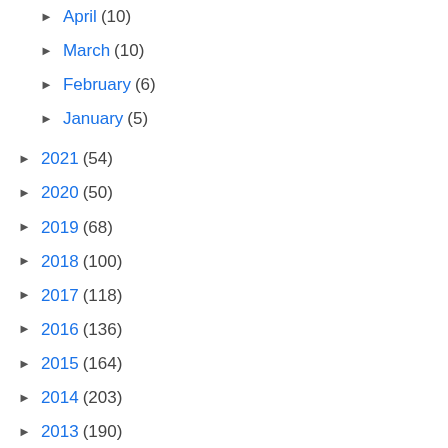► April (10)
► March (10)
► February (6)
► January (5)
► 2021 (54)
► 2020 (50)
► 2019 (68)
► 2018 (100)
► 2017 (118)
► 2016 (136)
► 2015 (164)
► 2014 (203)
► 2013 (190)
► 2012 (208)
► 2011 (180)
► 2010 (154)
► 2009 (105)